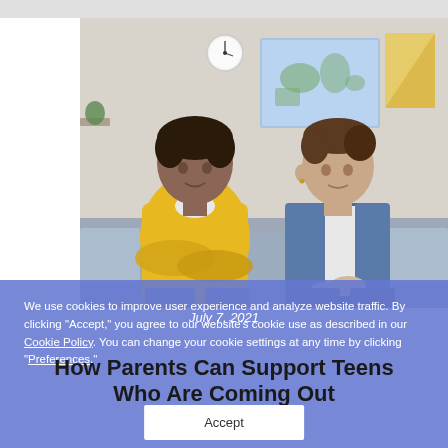[Figure (photo): A young adult male in a yellow hoodie sits on a couch talking face-to-face with a teenage boy in a denim jacket. Room background shows a world map poster and a wall clock.]
We use cookies to improve user experience and analyze website traffic. By clicking “Accept,” you agree to our website’s cookie use as described in our Cookie Policy. You can change your cookie settings at any time by clicking “Preferences.”
July 7, 2021
How Parents Can Support Teens Who Are Coming Out
Accept